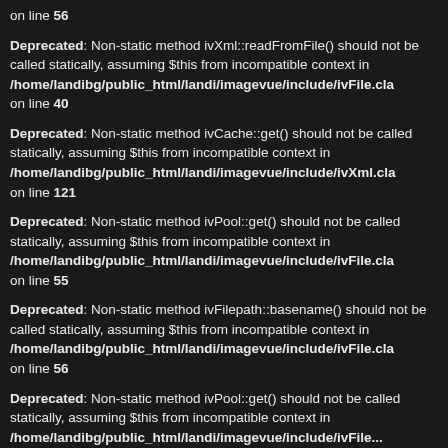on line 56
Deprecated: Non-static method ivXml::readFromFile() should not be called statically, assuming $this from incompatible context in /home/landibg/public_html/landi/imagevue/include/ivFile.cla on line 40
Deprecated: Non-static method ivCache::get() should not be called statically, assuming $this from incompatible context in /home/landibg/public_html/landi/imagevue/include/ivXml.cla on line 121
Deprecated: Non-static method ivPool::get() should not be called statically, assuming $this from incompatible context in /home/landibg/public_html/landi/imagevue/include/ivFile.cla on line 55
Deprecated: Non-static method ivFilepath::basename() should not be called statically, assuming $this from incompatible context in /home/landibg/public_html/landi/imagevue/include/ivFile.cla on line 56
Deprecated: Non-static method ivPool::get() should not be called statically, assuming $this from incompatible context in /home/landibg/public_html/landi/imagevue/include/ivFile...